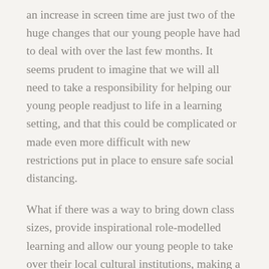an increase in screen time are just two of the huge changes that our young people have had to deal with over the last few months. It seems prudent to imagine that we will all need to take a responsibility for helping our young people readjust to life in a learning setting, and that this could be complicated or made even more difficult with new restrictions put in place to ensure safe social distancing.
What if there was a way to bring down class sizes, provide inspirational role-modelled learning and allow our young people to take over their local cultural institutions, making a return to education something exciting, fresh and different?
I wonder about the possibility of reopening our currently closed cultural and civic spaces, for the use of school pupils. What if we created a massive programme of work